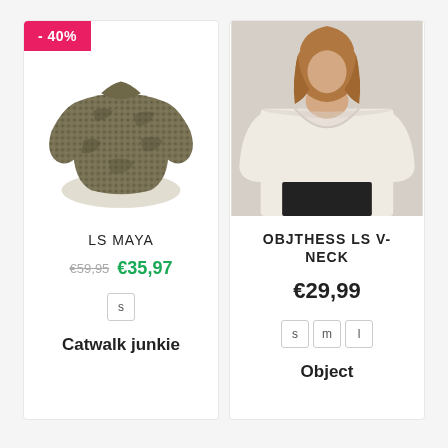[Figure (photo): Product card 1: LS MAYA sweater from Catwalk junkie with -40% badge. Dark olive/khaki textured knit sweater on white background.]
LS MAYA
€59,95 €35,97
s
Catwalk junkie
[Figure (photo): Product card 2: OBJTHESS LS V-NECK sweater from Object. Cream/beige v-neck sweater worn by a model with dark pants.]
OBJTHESS LS V-NECK
€29,99
s m l
Object